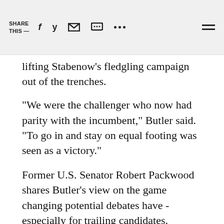SHARE THIS —
lifting Stabenow's fledgling campaign out of the trenches.
"We were the challenger who now had parity with the incumbent," Butler said. "To go in and stay on equal footing was seen as a victory."
Former U.S. Senator Robert Packwood shares Butler's view on the game changing potential debates have - especially for trailing candidates. Packwood
credits an eleventh-hour debate for changing the trajectory of his 1968 U.S. Senate race, which he said propelled him to victory. Packwood insists to this day that “the debate made the difference."